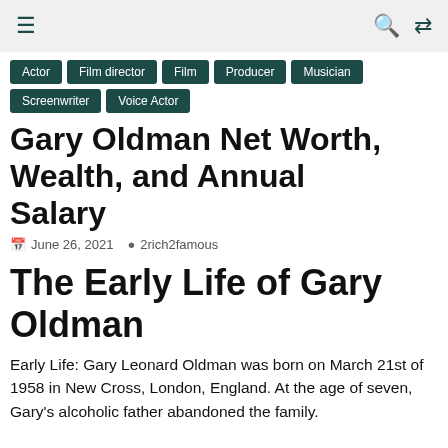≡  🔍  ⇄
Actor
Film director
Film
Producer
Musician
Screenwriter
Voice Actor
Gary Oldman Net Worth, Wealth, and Annual Salary
June 26, 2021   2rich2famous
The Early Life of Gary Oldman
Early Life: Gary Leonard Oldman was born on March 21st of 1958 in New Cross, London, England. At the age of seven, Gary's alcoholic father abandoned the family.